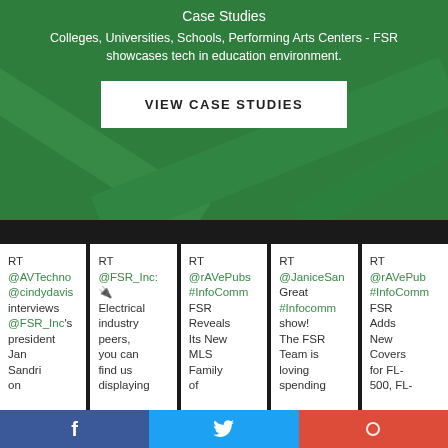Case Studies
Colleges, Universities, Schools, Performing Arts Centers - FSR showcases tech in education environment.
VIEW CASE STUDIES
RT @AVTechno @cindydavis interviews @FSR_Inc's president Jan Sandri on
RT @FSR_Inc: 🔌 Electrical industry peers, you can find us displaying
RT @rAVePubs #InfoComm FSR Reveals Its New MLS Family of
RT @JaniceSan Great #Infocomm show! The FSR Team is loving spending
RT @rAVePubs #InfoComm FSR Adds New Covers for FL-500, FL-